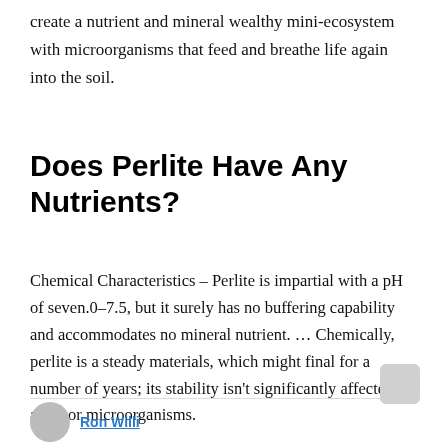create a nutrient and mineral wealthy mini-ecosystem with microorganisms that feed and breathe life again into the soil.
Does Perlite Have Any Nutrients?
Chemical Characteristics – Perlite is impartial with a pH of seven.0–7.5, but it surely has no buffering capability and accommodates no mineral nutrient. … Chemically, perlite is a steady materials, which might final for a number of years; its stability isn't significantly affected by acids or microorganisms.